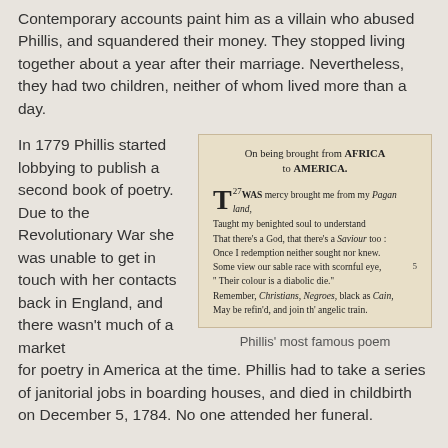Contemporary accounts paint him as a villain who abused Phillis, and squandered their money. They stopped living together about a year after their marriage. Nevertheless, they had two children, neither of whom lived more than a day.
In 1779 Phillis started lobbying to publish a second book of poetry. Due to the Revolutionary War she was unable to get in touch with her contacts back in England, and there wasn't much of a market for poetry in America at the time. Phillis had to take a series of janitorial jobs in boarding houses, and died in childbirth on December 5, 1784. No one attended her funeral.
[Figure (photo): An image of a printed poem titled 'On being brought from AFRICA to AMERICA.' with decorative drop cap T, containing 8 lines of verse about mercy, redemption, and race.]
Phillis' most famous poem